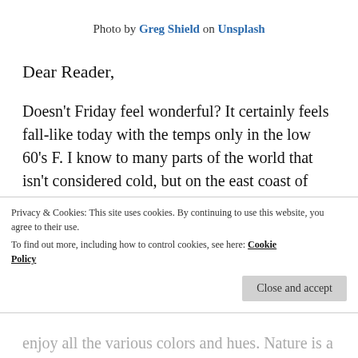Photo by Greg Shield on Unsplash
Dear Reader,
Doesn't Friday feel wonderful? It certainly feels fall-like today with the temps only in the low 60's F. I know to many parts of the world that isn't considered cold, but on the east coast of Virginia it is a little chilly especially in the mornings when it is in the 40s. I am a warm weather person. You will never hear me complain about the heat, but I do not enjoy anything
Privacy & Cookies: This site uses cookies. By continuing to use this website, you agree to their use.
To find out more, including how to control cookies, see here: Cookie Policy
enjoy all the various colors and hues. Nature is a